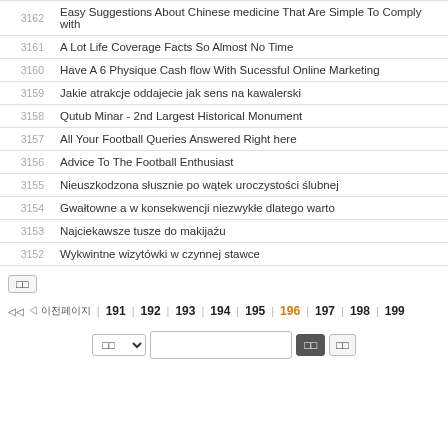| ID | Title |
| --- | --- |
| 3162 | Easy Suggestions About Chinese medicine That Are Simple To Comply with |
| 3161 | A Lot Life Coverage Facts So Almost No Time |
| 3160 | Have A 6 Physique Cash flow With Sucessful Online Marketing |
| 3159 | Jakie atrakcje oddajecie jak sens na kawalerski |
| 3158 | Qutub Minar - 2nd Largest Historical Monument |
| 3157 | All Your Football Queries Answered Right here |
| 3156 | Advice To The Football Enthusiast |
| 3155 | Nieuszkodzona słusznie po wątek uroczystości ślubnej |
| 3154 | Gwałtowne a w konsekwencji niezwykłe dlatego warto |
| 3153 | Najciekawsze tusze do makijażu |
| 3152 | Wykwintne wizytówki w czynnej stawce |
◁◁  ◁ 이전페이지  |  191  192  193  194  195  196  197  198  199
□□  ∨  [input]  □□  □□